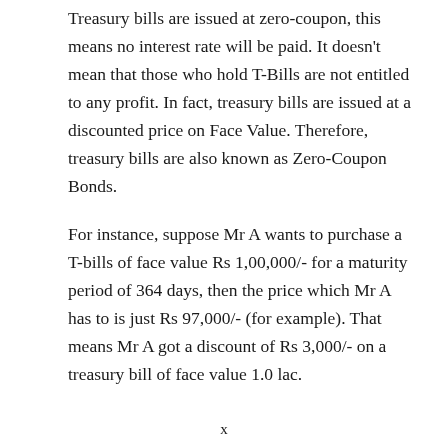Treasury bills are issued at zero-coupon, this means no interest rate will be paid. It doesn't mean that those who hold T-Bills are not entitled to any profit. In fact, treasury bills are issued at a discounted price on Face Value. Therefore, treasury bills are also known as Zero-Coupon Bonds.
For instance, suppose Mr A wants to purchase a T-bills of face value Rs 1,00,000/- for a maturity period of 364 days, then the price which Mr A has to is just Rs 97,000/- (for example). That means Mr A got a discount of Rs 3,000/- on a treasury bill of face value 1.0 lac.
x